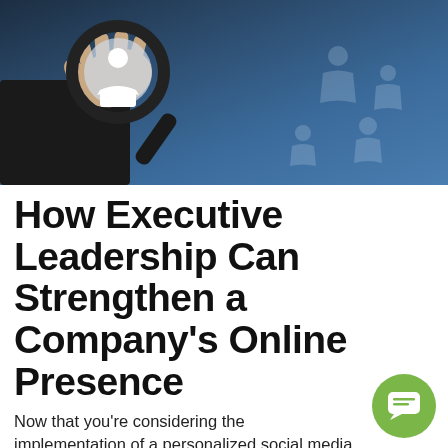[Figure (photo): A hand holding a magnifying glass with a white person silhouette/icon in focus inside the lens, against a dark blue background with blurred grey silhouette figures of people arranged in a network pattern]
How Executive Leadership Can Strengthen a Company's Online Presence
Now that you're considering the implementation of a personalized social media strategy, consider the two important considerations in any marketing campaign (i)